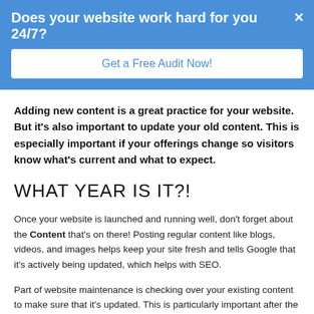Does your website work hard for you 24/7?
Get a Free Audit Now!
Adding new content is a great practice for your website. But it's also important to update your old content. This is especially important if your offerings change so visitors know what's current and what to expect.
WHAT YEAR IS IT?!
Once your website is launched and running well, don't forget about the Content that's on there! Posting regular content like blogs, videos, and images helps keep your site fresh and tells Google that it's actively being updated, which helps with SEO.
Part of website maintenance is checking over your existing content to make sure that it's updated. This is particularly important after the new year, especially if the year is something you liked to mention in your content.